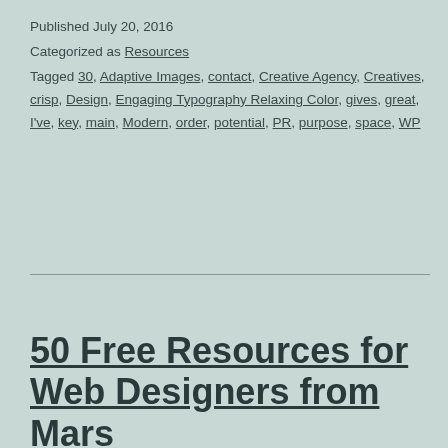Published July 20, 2016
Categorized as Resources
Tagged 30, Adaptive Images, contact, Creative Agency, Creatives, crisp, Design, Engaging Typography Relaxing Color, gives, great, I've, key, main, Modern, order, potential, PR, purpose, space, WP
50 Free Resources for Web Designers from Mars